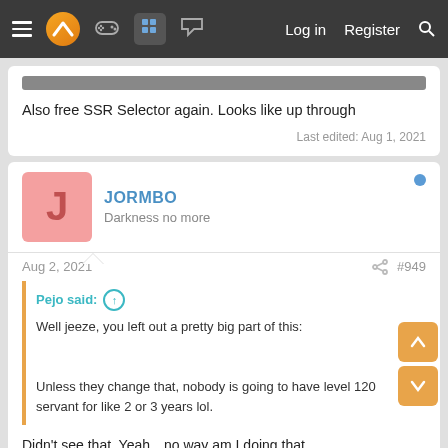Navigation bar with hamburger menu, logo, controller icon, grid icon, chat icon, Log in, Register, Search
Also free SSR Selector again. Looks like up through
Last edited: Aug 1, 2021
JORMBO
Darkness no more
Aug 2, 2021
#949
Pejo said: ↑
Well jeeze, you left out a pretty big part of this:
Unless they change that, nobody is going to have level 120 servant for like 2 or 3 years lol.
Didn't see that. Yeah…no way am I doing that.